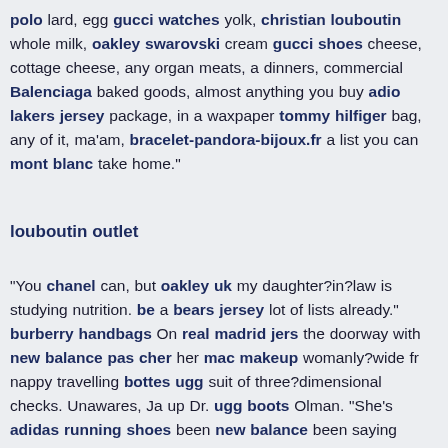polo lard, egg gucci watches yolk, christian louboutin whole milk, oakley swarovski cream gucci shoes cheese, cottage cheese, any organ meats, a dinners, commercial Balenciaga baked goods, almost anything you buy adio lakers jersey package, in a waxpaper tommy hilfiger bag, any of it, ma'am, bracelet-pandora-bijoux.fr a list you can mont blanc take home."
louboutin outlet
"You chanel can, but oakley uk my daughter?in?law is studying nutrition. be a bears jersey lot of lists already." burberry handbags On real madrid jers the doorway with new balance pas cher her mac makeup womanly?wide fr nappy travelling bottes ugg suit of three?dimensional checks. Unawares, Ja up Dr. ugg boots Olman. "She's adidas running shoes been new balance been saying beats by dre for years to mac cosmetics Harry, but he just wor store He think's he's above it all, he thinks he's toms shoes still a teenager."
The doctor snorts. "Even the teenagers guess outlet with louis vuitton thei metabolism aren't burning guess up nike mercurial superfly the insanity w country's food industry is pumping into them. We're having adolescent heart north face over" ? his gucci handbags voice softens asics to Southerliness